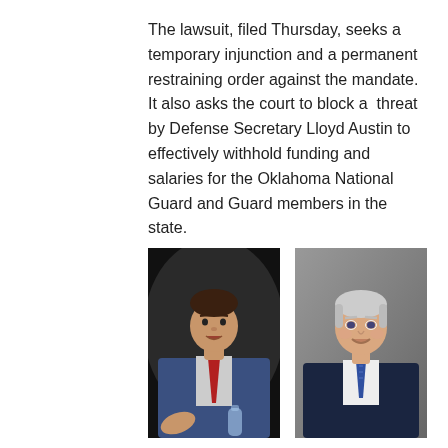The lawsuit, filed Thursday, seeks a temporary injunction and a permanent restraining order against the mandate. It also asks the court to block a  threat by Defense Secretary Lloyd Austin to effectively withhold funding and salaries for the Oklahoma National Guard and Guard members in the state.
[Figure (photo): Photo of a man in a blue suit with red tie, appears to be speaking at an event, dark background]
[Figure (photo): Official portrait photo of an older man with white/gray hair in a dark suit, smiling against a gray background]